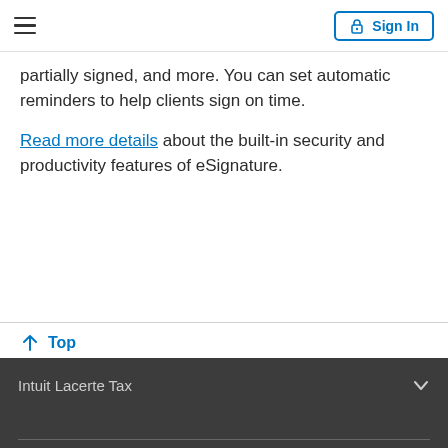Sign In
partially signed, and more. You can set automatic reminders to help clients sign on time.
Read more details about the built-in security and productivity features of eSignature.
↑ Top
Intuit Lacerte Tax